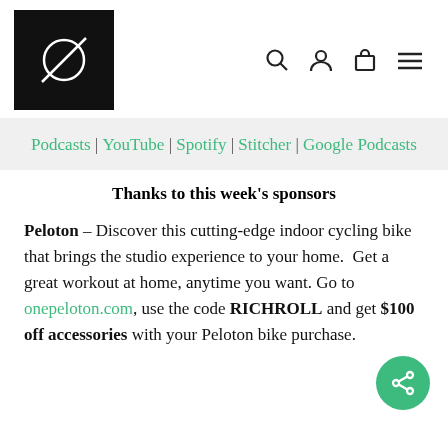[Figure (logo): Black square logo with white abstract circular cross/line symbol]
Podcasts | YouTube | Spotify | Stitcher | Google Podcasts
Thanks to this week's sponsors
Peloton – Discover this cutting-edge indoor cycling bike that brings the studio experience to your home.  Get a great workout at home, anytime you want. Go to onepeloton.com, use the code RICHROLL and get $100 off accessories with your Peloton bike purchase.